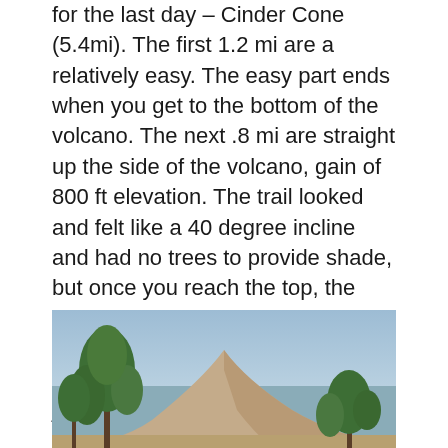for the last day – Cinder Cone (5.4mi). The first 1.2 mi are a relatively easy. The easy part ends when you get to the bottom of the volcano. The next .8 mi are straight up the side of the volcano, gain of 800 ft elevation. The trail looked and felt like a 40 degree incline and had no trees to provide shade, but once you reach the top, the view is spectacular. We sat down in the shade of a dwarf pine tree and enjoyed a peanut butter and jelly sandwich with the best view in the house.
[Figure (photo): A photo of Cinder Cone volcano with a sandy/dirt-colored conical hill against a blue sky, with green pine trees visible in the foreground left and right sides.]